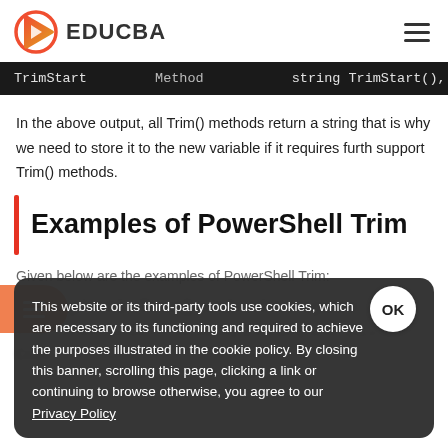EDUCBA
[Figure (screenshot): Code table row showing TrimStart Method with string TrimStart(), string TrimStart( signatures on dark background]
In the above output, all Trim() methods return a string that is why we need to store it to the new variable if it requires further support Trim() methods.
Examples of PowerShell Trim
Given below are the examples of PowerShell Trim:
Example #1: Trim() with white space
In this function, we will trim the leading and trailing white space
Code:
This website or its third-party tools use cookies, which are necessary to its functioning and required to achieve the purposes illustrated in the cookie policy. By closing this banner, scrolling this page, clicking a link or continuing to browse otherwise, you agree to our Privacy Policy